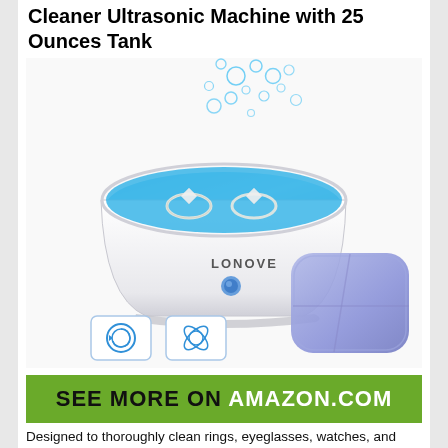Cleaner Ultrasonic Machine with 25 Ounces Tank
[Figure (photo): LONOVE branded ultrasonic cleaner machine with blue water and jewelry inside, bubbles splashing out, with a purple translucent lid placed beside it, and two small icon thumbnails below]
[Figure (infographic): Green banner with text SEE MORE ON AMAZON.COM]
Designed to thoroughly clean rings, eyeglasses, watches, and other jewelries, this is a beautiful and professional looking cleaner that if...